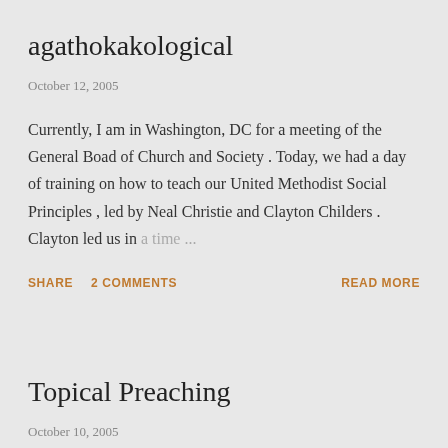agathokakological
October 12, 2005
Currently, I am in Washington, DC for a meeting of the General Boad of Church and Society . Today, we had a day of training on how to teach our United Methodist Social Principles , led by Neal Christie and Clayton Childers . Clayton led us in a time ...
SHARE   2 COMMENTS   READ MORE
Topical Preaching
October 10, 2005
After reading Adam Hamilton's book Leading Beyond the Walls